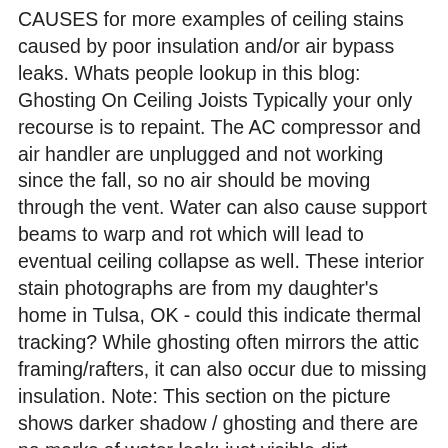CAUSES for more examples of ceiling stains caused by poor insulation and/or air bypass leaks. Whats people lookup in this blog: Ghosting On Ceiling Joists Typically your only recourse is to repaint. The AC compressor and air handler are unplugged and not working since the fall, so no air should be moving through the vent. Water can also cause support beams to warp and rot which will lead to eventual ceiling collapse as well. These interior stain photographs are from my daughter's home in Tulsa, OK - could this indicate thermal tracking? While ghosting often mirrors the attic framing/rafters, it can also occur due to missing insulation. Note: This section on the picture shows darker shadow / ghosting and there are no marks of water leak; just visible dirt. Running your bathroom 12 hours per day will often do the trick. Our page top photo shows two common thermal tracking or "ghosting" patterns. I was in a 30-year-old rancher this week that had distinct marks on the ceiling, evenly spaced as if they were directly under the trusses, that ran the length of each room. 1996 Ashrae Handbook Heating, Ventilating, and Air-